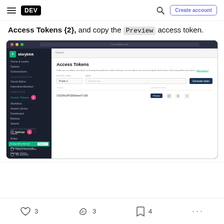DEV – navigation bar with logo, search, and Create account button
Access Tokens {2}, and copy the Preview access token.
[Figure (screenshot): Screenshot of Storyblok CMS dashboard showing the Access Tokens page. The sidebar has Settings highlighted with a pink arrow labeled 1, and Access Tokens highlighted with a pink badge labeled 2. The main content shows an Access Tokens section with a token value and a Preview badge.]
3 likes, 3 reactions, 4 bookmarks, more options